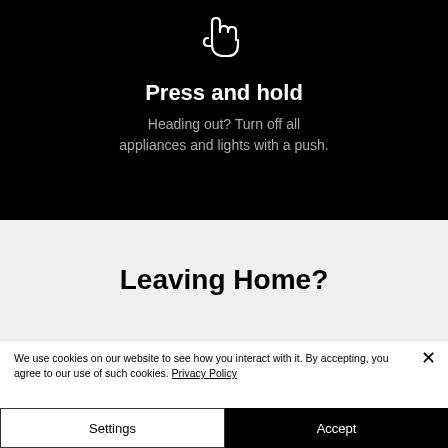[Figure (illustration): White outline hand/pointer icon on black background]
Press and hold
Heading out? Turn off all appliances and lights with a push.
Leaving Home?
We use cookies on our website to see how you interact with it. By accepting, you agree to our use of such cookies. Privacy Policy
Settings
Accept